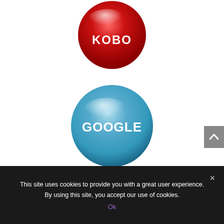[Figure (logo): Red glossy circular button with white bold text 'KOBO' in the center, partially cropped at top]
[Figure (logo): Blue glossy circular button with white bold text 'GOOGLE' in the center]
[Figure (other): Gray scroll-to-top button with upward arrow icon, positioned at right edge]
This site uses cookies to provide you with a great user experience. By using this site, you accept our use of cookies.
Ok